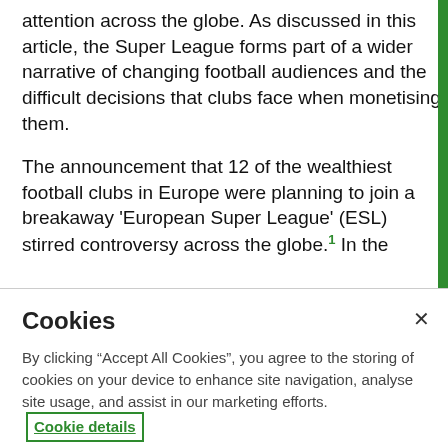attention across the globe. As discussed in this article, the Super League forms part of a wider narrative of changing football audiences and the difficult decisions that clubs face when monetising them.
The announcement that 12 of the wealthiest football clubs in Europe were planning to join a breakaway 'European Super League' (ESL) stirred controversy across the globe.[1] In the
Cookies
By clicking "Accept All Cookies", you agree to the storing of cookies on your device to enhance site navigation, analyse site usage, and assist in our marketing efforts. Cookie details
Cookie settings
Accept all cookies